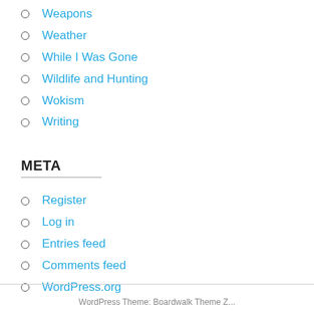Weapons
Weather
While I Was Gone
Wildlife and Hunting
Wokism
Writing
META
Register
Log in
Entries feed
Comments feed
WordPress.org
WordPress Theme: Boardwalk Theme Z...